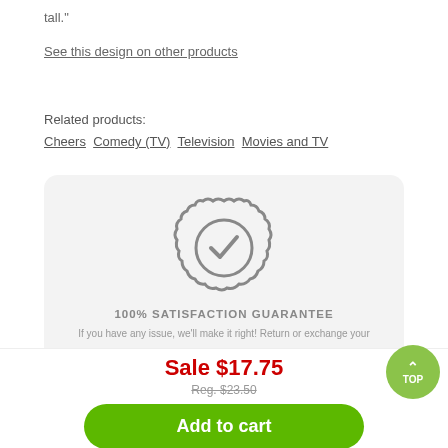tall.&quot;
See this design on other products
Related products:
Cheers  Comedy (TV)  Television  Movies and TV
[Figure (illustration): Badge/seal icon with a checkmark, representing a satisfaction guarantee]
100% SATISFACTION GUARANTEE
If you have any issue, we'll make it right! Return or exchange your
Sale $17.75
Reg. $23.50
Add to cart